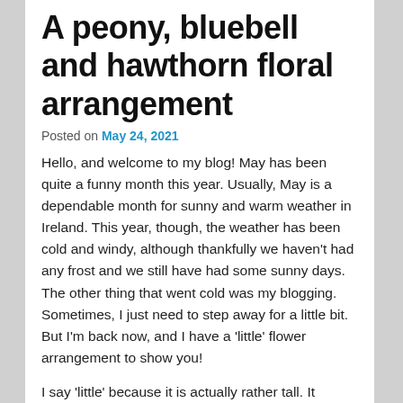A peony, bluebell and hawthorn floral arrangement
Posted on May 24, 2021
Hello, and welcome to my blog! May has been quite a funny month this year. Usually, May is a dependable month for sunny and warm weather in Ireland. This year, though, the weather has been cold and windy, although thankfully we haven’t had any frost and we still have had some sunny days. The other thing that went cold was my blogging. Sometimes, I just need to step away for a little bit. But I’m back now, and I have a ‘little’ flower arrangement to show you!
I say ‘little’ because it is actually rather tall. It reminds me of a rocket ship, actually. The great thing about flower arranging for yourself is that you can create anything you